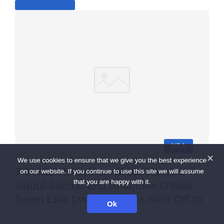[Figure (photo): Placeholder image area with a faint image icon, NBA badge overlay in bottom right corner]
admin  1 hour ago  0
7'6" NBA Star, Who Made Kareem Abdul-Jabbar and Shaquille O'Neal Seem Like Dwarves, Gets Sent Off to
We use cookies to ensure that we give you the best experience on our website. If you continue to use this site we will assume that you are happy with it.
Ok